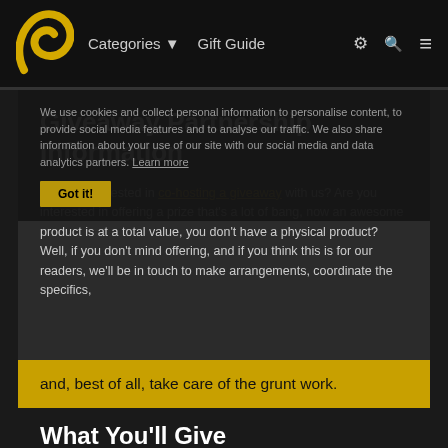Categories ▼  Gift Guide
Giveaway Partnership Information
Are you interested in co-hosting a giveaway with us? Are you interested in offering a prize that's a lot of bang, now an awesome product is at a total value, you don't have a physical product? Well, if you don't mind offering, and if you think this is for our readers, we'll be in touch to make arrangements, coordinate the specifics, and, best of all, take care of the grunt work.
We use cookies and collect personal information to personalise content, to provide social media features and to analyse our traffic. We also share information about your use of our site with our social media and data analytics partners. Learn more
What You'll Give